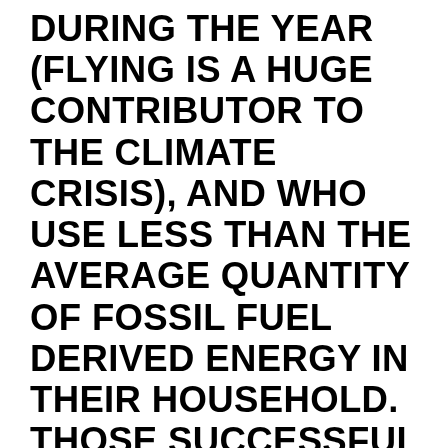DURING THE YEAR (FLYING IS A HUGE CONTRIBUTOR TO THE CLIMATE CRISIS), AND WHO USE LESS THAN THE AVERAGE QUANTITY OF FOSSIL FUEL DERIVED ENERGY IN THEIR HOUSEHOLD. THOSE SUCCESSFUL AT ALL THREE CARBON REDUCTION ACTIONS WOULD QUALIFY FOR A $6,000 ANNUAL REBATE TO USE FOR ANY